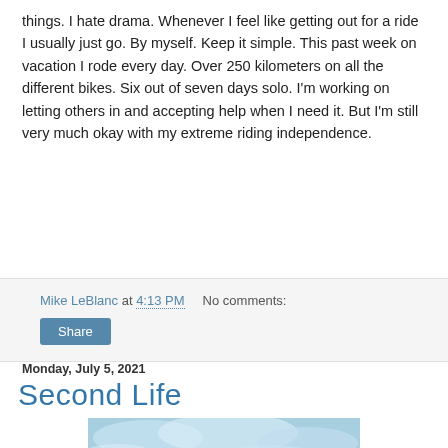things.  I hate drama.  Whenever I feel like getting out for a ride I usually just go.  By myself.  Keep it simple.  This past week on vacation I rode every day.  Over 250 kilometers on all the different bikes.  Six out of seven days solo.  I'm working on letting others in and accepting help when I need it.  But I'm still very much okay with my extreme riding independence.
Mike LeBlanc at 4:13 PM    No comments:
Share
Monday, July 5, 2021
Second Life
[Figure (photo): Blue sky with clouds photograph, partially visible at bottom of page]